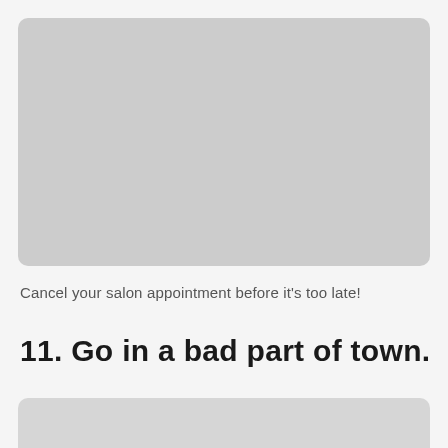[Figure (photo): Large gray placeholder image at the top of the page]
Cancel your salon appointment before it's too late!
11. Go in a bad part of town.
[Figure (photo): Partial gray placeholder image at the bottom of the page]